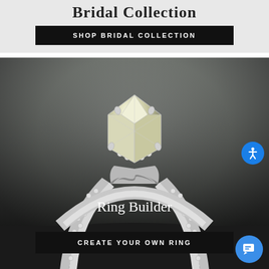Bridal Collection
SHOP BRIDAL COLLECTION
[Figure (photo): Close-up photograph of a diamond halo engagement ring viewed from below, showing the intricate pave band and ornate setting, displayed on a dark background]
Ring Builder
CREATE YOUR OWN RING